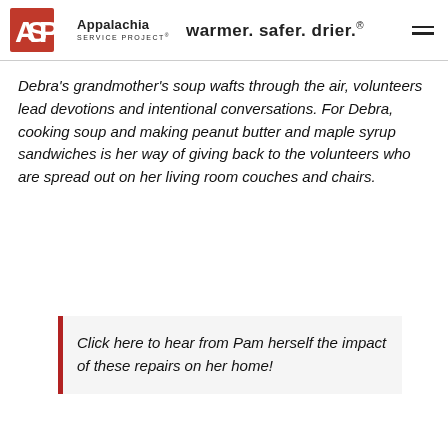ASP Appalachia Service Project warmer. safer. drier.®
Debra's grandmother's soup wafts through the air, volunteers lead devotions and intentional conversations. For Debra, cooking soup and making peanut butter and maple syrup sandwiches is her way of giving back to the volunteers who are spread out on her living room couches and chairs.
Click here to hear from Pam herself the impact of these repairs on her home!